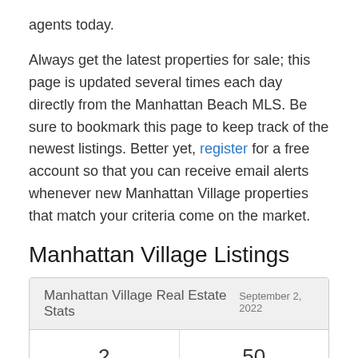agents today.
Always get the latest properties for sale; this page is updated several times each day directly from the Manhattan Beach MLS. Be sure to bookmark this page to keep track of the newest listings. Better yet, register for a free account so that you can receive email alerts whenever new Manhattan Village properties that match your criteria come on the market.
Manhattan Village Listings
| Manhattan Village Real Estate Stats  September 2, 2022 |  |
| --- | --- |
| 2
Listed | 50
Avg. DOM |